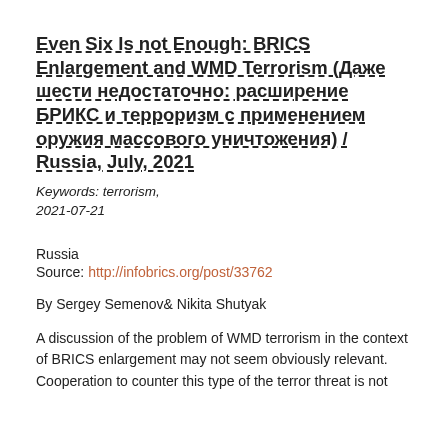Even Six Is not Enough: BRICS Enlargement and WMD Terrorism (Даже шести недостаточно: расширение БРИКС и терроризм с применением оружия массового уничтожения) / Russia, July, 2021
Keywords: terrorism,
2021-07-21
Russia
Source: http://infobrics.org/post/33762
By Sergey Semenov& Nikita Shutyak
A discussion of the problem of WMD terrorism in the context of BRICS enlargement may not seem obviously relevant. Cooperation to counter this type of the terror threat is not